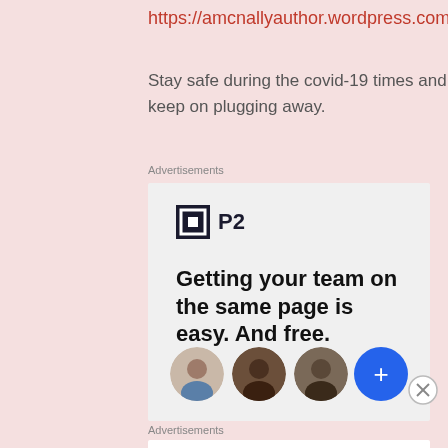https://amcnallyauthor.wordpress.com/
Stay safe during the covid-19 times and keep on plugging away.
Advertisements
[Figure (infographic): P2 advertisement banner: P2 logo with tagline 'Getting your team on the same page is easy. And free.' with three circular person avatars and a blue plus button]
Advertisements
[Figure (infographic): WordPress app advertisement: 'Build a writing habit. Post on the go.' with GET THE APP button and WordPress logo]